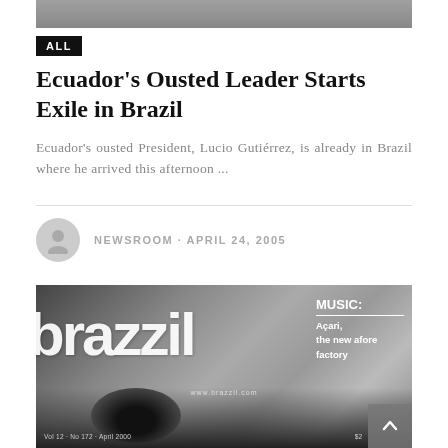[Figure (photo): Partial grayscale photo at top of page, cropped view of a person]
ALL
Ecuador's Ousted Leader Starts Exile in Brazil
Ecuador's ousted President, Lucio Gutiérrez, is already in Brazil where he arrived this afternoon ...
NEWSROOM · APRIL 24, 2005
[Figure (photo): Cover of Brazzil magazine, grayscale, showing close-up of a face/eye, large magazine title 'brazzil' in white, with text 'MUSIC: Açari, the new afore factory', website www.brazzil.com, Vol 12 No 172, April 2000]